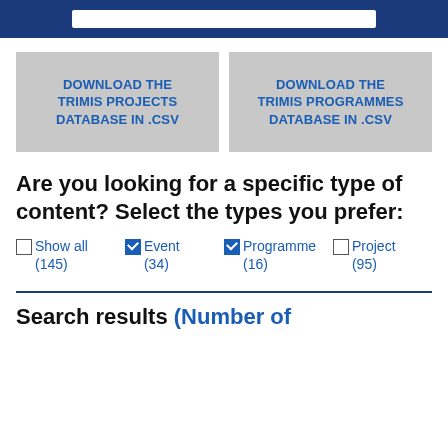[Figure (screenshot): Blue navigation bar at top with a white search input box]
DOWNLOAD THE TRIMIS PROJECTS DATABASE IN .CSV
DOWNLOAD THE TRIMIS PROGRAMMES DATABASE IN .CSV
Are you looking for a specific type of content? Select the types you prefer:
Show all (145)
Event (34)
Programme (16)
Project (95)
Search results (Number of